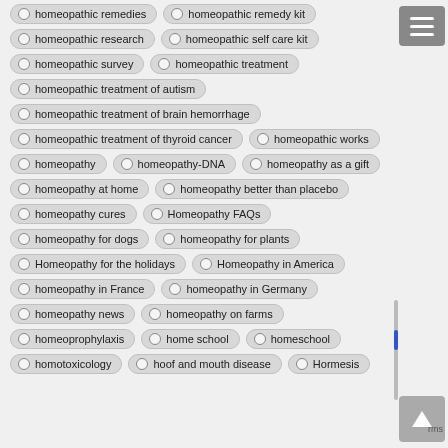homeopathic remedies
homeopathic remedy kit
homeopathic research
homeopathic self care kit
homeopathic survey
homeopathic treatment
homeopathic treatment of autism
homeopathic treatment of brain hemorrhage
homeopathic treatment of thyroid cancer
homeopathic works
homeopathy
homeopathy-DNA
homeopathy as a gift
homeopathy at home
homeopathy better than placebo
homeopathy cures
Homeopathy FAQs
homeopathy for dogs
homeopathy for plants
Homeopathy for the holidays
Homeopathy in America
homeopathy in France
homeopathy in Germany
homeopathy news
homeopathy on farms
homeoprophylaxis
home school
homeschool
homotoxicology
hoof and mouth disease
Hormesis